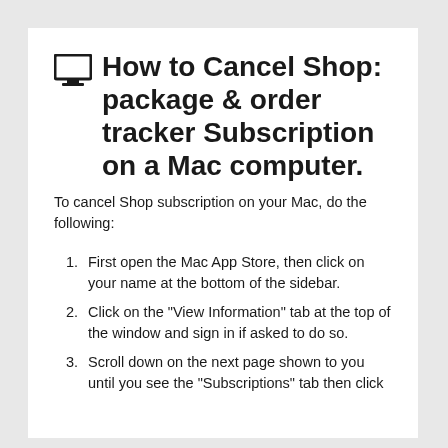🖥 How to Cancel Shop: package & order tracker Subscription on a Mac computer.
To cancel Shop subscription on your Mac, do the following:
First open the Mac App Store, then click on your name at the bottom of the sidebar.
Click on the "View Information" tab at the top of the window and sign in if asked to do so.
Scroll down on the next page shown to you until you see the "Subscriptions" tab then click